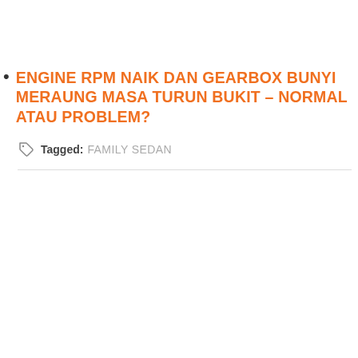ENGINE RPM NAIK DAN GEARBOX BUNYI MERAUNG MASA TURUN BUKIT – NORMAL ATAU PROBLEM?
Tagged: FAMILY SEDAN